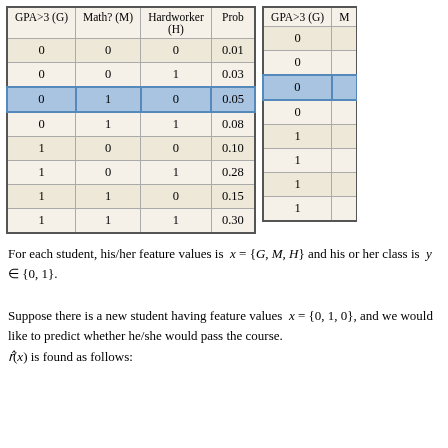| GPA>3 (G) | Math? (M) | Hardworker (H) | Prob |
| --- | --- | --- | --- |
| 0 | 0 | 0 | 0.01 |
| 0 | 0 | 1 | 0.03 |
| 0 | 1 | 0 | 0.05 |
| 0 | 1 | 1 | 0.08 |
| 1 | 0 | 0 | 0.10 |
| 1 | 0 | 1 | 0.28 |
| 1 | 1 | 0 | 0.15 |
| 1 | 1 | 1 | 0.30 |
| GPA>3 (G) | M |
| --- | --- |
| 0 |  |
| 0 |  |
| 0 |  |
| 0 |  |
| 1 |  |
| 1 |  |
| 1 |  |
| 1 |  |
For each student, his/her feature values is x = {G, M, H} and his or her class is y ∈ {0, 1}.
Suppose there is a new student having feature values x = {0, 1, 0}, and we would like to predict whether he/she would pass the course. r̂(x) is found as follows: